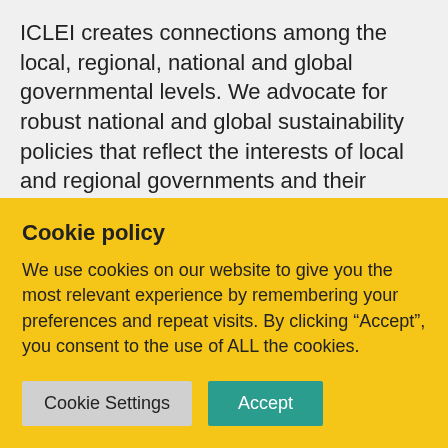ICLEI creates connections among the local, regional, national and global governmental levels. We advocate for robust national and global sustainability policies that reflect the interests of local and regional governments and their communities.
ICLEI forges strategic alliances with international organizations, national governments, academic and financial institutions, civil society and the private sector. We create space for innovation within our multi-disciplinary teams and work alongside our
Cookie policy
We use cookies on our website to give you the most relevant experience by remembering your preferences and repeat visits. By clicking “Accept”, you consent to the use of ALL the cookies.